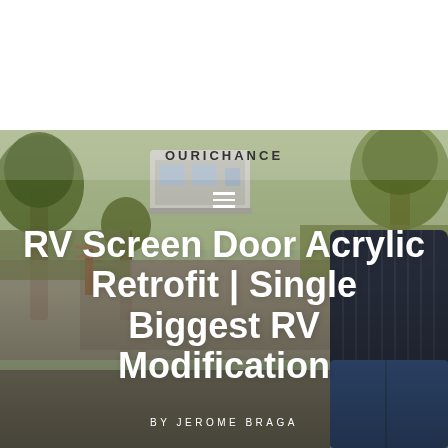[Figure (photo): Outdoor photograph showing a campground scene with trees, gravel path, grass, and an RV in the background. In the foreground is a person wearing a dark pinstripe shirt and jeans. The image forms the background of an article header.]
OURICHANCE
RV Screen Door Acrylic Retrofit | Single Biggest RV Modification
BY JEROME BRAGA